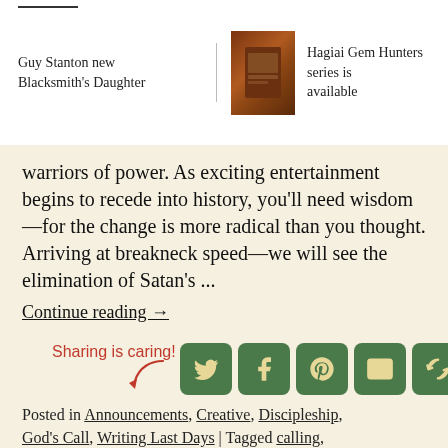Guy Stanton new Blacksmith's Daughter | Hagiai Gem Hunters series is available
warriors of power. As exciting entertainment begins to recede into history, you'll need wisdom—for the change is more radical than you thought. Arriving at breakneck speed—we will see the elimination of Satan's ...
Continue reading →
[Figure (infographic): Sharing is caring! label with arrow and five social media sharing buttons: Twitter, Facebook, Pinterest, Email, and a share/refresh icon, all in dark green rounded squares with cream icons]
Posted in Announcements, Creative, Discipleship, God's Call, Writing Last Days | Tagged calling, Christian Speculative Fiction, completing the bride,